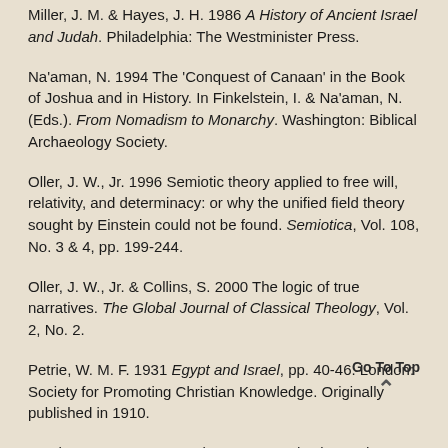Miller, J. M. & Hayes, J. H. 1986 A History of Ancient Israel and Judah. Philadelphia: The Westminister Press.
Na'aman, N. 1994 The 'Conquest of Canaan' in the Book of Joshua and in History. In Finkelstein, I. & Na'aman, N. (Eds.). From Nomadism to Monarchy. Washington: Biblical Archaeology Society.
Oller, J. W., Jr. 1996 Semiotic theory applied to free will, relativity, and determinacy: or why the unified field theory sought by Einstein could not be found. Semiotica, Vol. 108, No. 3 & 4, pp. 199-244.
Oller, J. W., Jr. & Collins, S. 2000 The logic of true narratives. The Global Journal of Classical Theology, Vol. 2, No. 2.
Petrie, W. M. F. 1931 Egypt and Israel, pp. 40-46. London: Society for Promoting Christian Knowledge. Originally published in 1910.
Wenham, G. J. 1981 Numbers: An Introduction and Commentary, pp. 56-66. Downers Grove, Illinois: Inter-